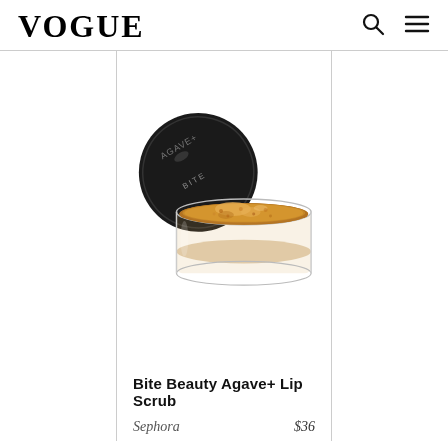VOGUE
[Figure (photo): A jar of Bite Beauty Agave+ Lip Scrub with a round black lid partially open, showing a golden honey-colored grainy scrub texture inside a clear glass jar. The black lid shows 'BITE' branding and the jar has 'AGAVE+' text.]
Bite Beauty Agave+ Lip Scrub
Sephora
$36